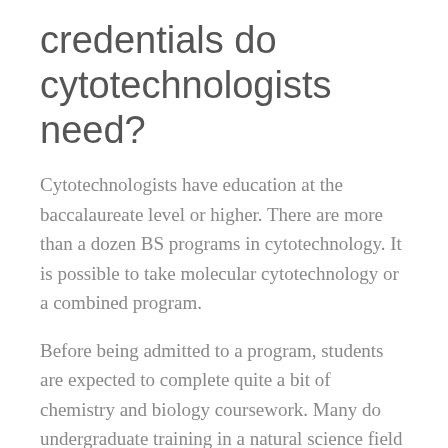credentials do cytotechnologists need?
Cytotechnologists have education at the baccalaureate level or higher. There are more than a dozen BS programs in cytotechnology. It is possible to take molecular cytotechnology or a combined program.
Before being admitted to a program, students are expected to complete quite a bit of chemistry and biology coursework. Many do undergraduate training in a natural science field like microbiology or biology and then complete an approved post-baccalaureate program later. The typical biological science requirement is twenty semester hours. Biology classes include anatomy and physiology,